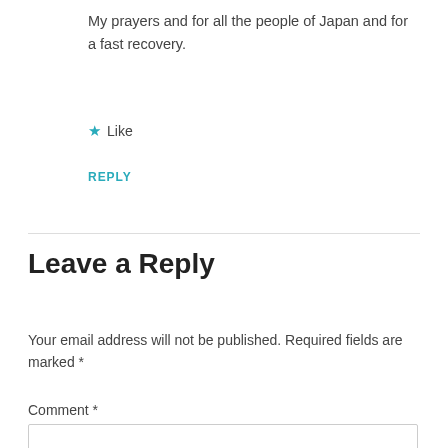My prayers and for all the people of Japan and for a fast recovery.
★ Like
REPLY
Leave a Reply
Your email address will not be published. Required fields are marked *
Comment *